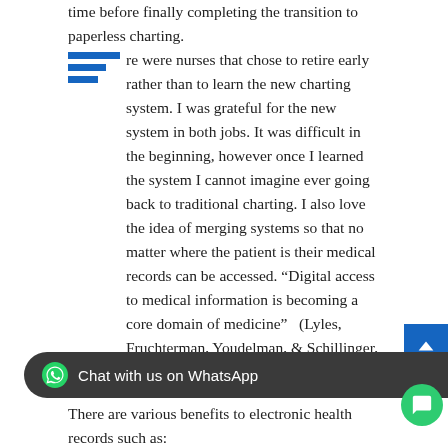time before finally completing the transition to paperless charting. There were nurses that chose to retire early rather than to learn the new charting system. I was grateful for the new system in both jobs. It was difficult in the beginning, however once I learned the system I cannot imagine ever going back to traditional charting. I also love the idea of merging systems so that no matter where the patient is their medical records can be accessed. “Digital access to medical information is becoming a core domain of medicine” (Lyles, Fruchterman, Youdelman, & Schillinger, 2017).
There are various benefits to electronic health records such as:
Accessibility
Efficiency
Reduced Medical Errors
Increased communication and collaboration
Electronic health records impact multiple areas of the healthcare health records and patient portals have become a focal point for organizations across the